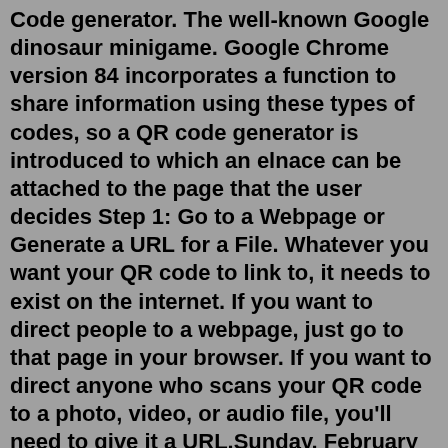Code generator. The well-known Google dinosaur minigame. Google Chrome version 84 incorporates a function to share information using these types of codes, so a QR code generator is introduced to which an elnace can be attached to the page that the user decides Step 1: Go to a Webpage or Generate a URL for a File. Whatever you want your QR code to link to, it needs to exist on the internet. If you want to direct people to a webpage, just go to that page in your browser. If you want to direct anyone who scans your QR code to a photo, video, or audio file, you'll need to give it a URL.Sunday, February 7, 2021. Google Chrome Has Gained The Ability To Create QR Codes. Arooj Ahmed. browser, Chrome, Google, news, Technology. Google has very recently added a new feature to Chrome, allowing users to generate QR codes with the application. QR codes have quietly sprung about in the modern world. Unlike the advent of iPhones or 5G ...Best QR Code Generator 2022: Full Comparison of Top Players. You know that the use of QR Codes is growing every day across the